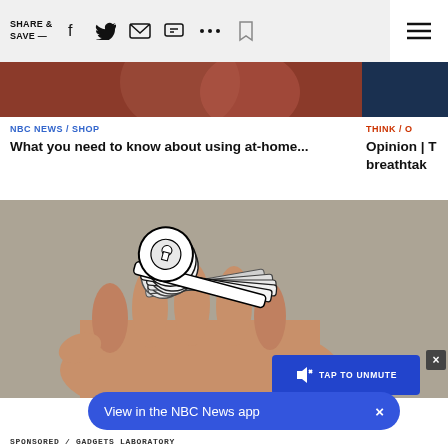SHARE & SAVE — [social icons] [hamburger menu]
[Figure (photo): Cropped image strip showing two partial images: left reddish-brown photo, right dark blue photo]
NBC NEWS / SHOP
What you need to know about using at-home...
THINK / O
Opinion | T breathtak
[Figure (photo): A hand holding several multi-tool key-shaped metal gadgets, photographed against a grey pavement background]
[Figure (screenshot): Blue button overlay with speaker mute icon and text TAP TO UNMUTE, with X close button]
[Figure (screenshot): Blue pill-shaped app banner reading View in the NBC News app with X button]
SPONSORED / GADGETS LABORATORY